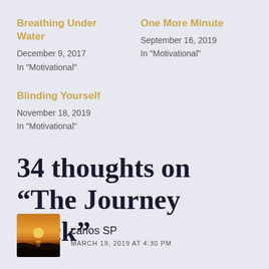Breathing Under Water
December 9, 2017
In "Motivational"
Blinding Yourself
November 18, 2019
In "Motivational"
One More Minute
September 16, 2019
In "Motivational"
34 thoughts on “The Journey Back”
[Figure (photo): Sunset over the ocean with dark water silhouette]
carlos SP
MARCH 19, 2019 AT 4:30 PM